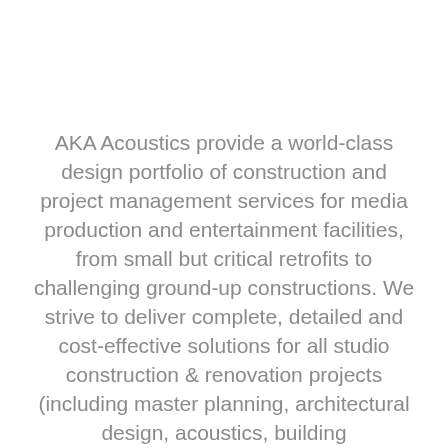AKA Acoustics provide a world-class design portfolio of construction and project management services for media production and entertainment facilities, from small but critical retrofits to challenging ground-up constructions. We strive to deliver complete, detailed and cost-effective solutions for all studio construction & renovation projects (including master planning, architectural design, acoustics, building